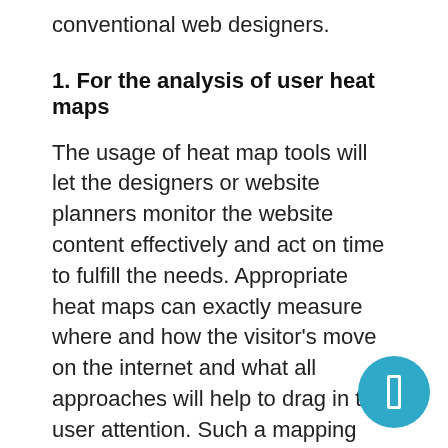conventional web designers.
1. For the analysis of user heat maps
The usage of heat map tools will let the designers or website planners monitor the website content effectively and act on time to fulfill the needs. Appropriate heat maps can exactly measure where and how the visitor's move on the internet and what all approaches will help to drag in the user attention. Such a mapping can also show what should be skipped and what to keep. Overall, data analysis will help you to effectively track the performance of your existing website in real-time and do the fine-tuning of it.